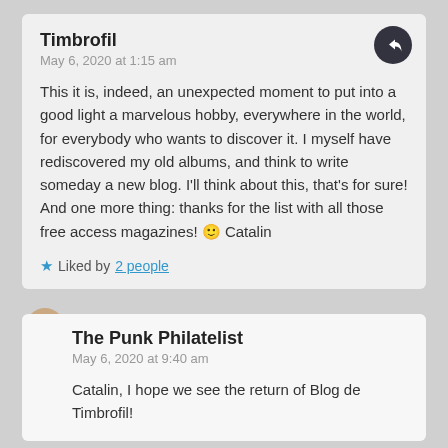Timbrofil
May 6, 2020 at 1:15 am
This it is, indeed, an unexpected moment to put into a good light a marvelous hobby, everywhere in the world, for everybody who wants to discover it. I myself have rediscovered my old albums, and think to write someday a new blog. I'll think about this, that's for sure! And one more thing: thanks for the list with all those free access magazines! 🙂 Catalin
Liked by 2 people
The Punk Philatelist
May 6, 2020 at 9:40 am
Catalin, I hope we see the return of Blog de Timbrofil!